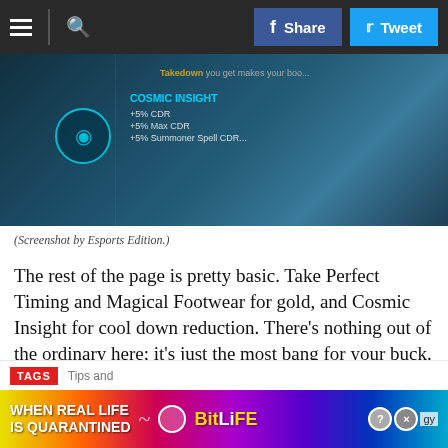≡ 🔍 | f Share | 🐦 Tweet
[Figure (screenshot): Screenshot of League of Legends rune page showing Cosmic Insight with +5% CDR, +5% Max CDR, +5% Summoner Spell CDR]
(Screenshot by Esports Edition.)
The rest of the page is pretty basic. Take Perfect Timing and Magical Footwear for gold, and Cosmic Insight for cool down reduction. There's nothing out of the ordinary here; it's just the most bang for your buck. For the second page, take Precision, Triumph, and Coup de Grace; they are very solid offensive runes for most roles. Plus, Triumph gives you a bit more gold, too!
TAGS | Tips and...  gy
[Figure (screenshot): Ad banner: WHEN REAL LIFE IS QUARANTINED - BitLife app advertisement]